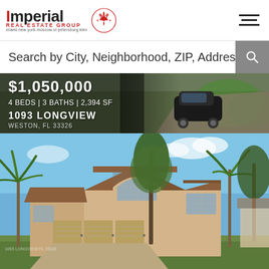[Figure (logo): Imperial Real Estate Group logo with IRG badge. Text reads: Imperial REAL ESTATE GROUP, miami.new york.moscow.st petersburg.kiev]
Search by City, Neighborhood, ZIP, Address,
$1,050,000
4 BEDS | 3 BATHS | 2,394 SF
1093 LONGVIEW
WESTON, FL 33326
[Figure (photo): Exterior photo of a two-story Florida home with palm trees, tile roof, three-car garage, stucco facade, under blue sky.]